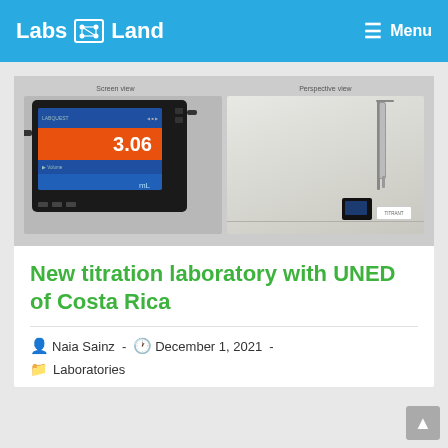Labs Land  ☰ Menu
[Figure (photo): Two-panel image: left panel labeled 'Screen view' shows a digital titration device with a screen displaying '3.06 mL'; right panel labeled 'Perspective view' shows a laboratory titration setup with a burette stand and the same device.]
New titration laboratory with UNED of Costa Rica
Naia Sainz  -  December 1, 2021  -  Laboratories